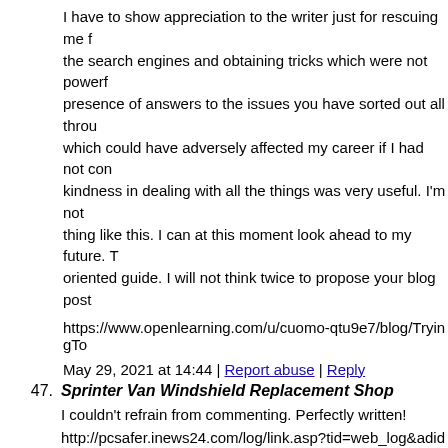I have to show appreciation to the writer just for rescuing me from the search engines and obtaining tricks which were not powerful presence of answers to the issues you have sorted out all through which could have adversely affected my career if I had not con kindness in dealing with all the things was very useful. I'm not thing like this. I can at this moment look ahead to my future. T oriented guide. I will not think twice to propose your blog post
https://www.openlearning.com/u/cuomo-qtu9e7/blog/TryingTo
May 29, 2021 at 14:44 | Report abuse | Reply
47. Sprinter Van Windshield Replacement Shop
I couldn't refrain from commenting. Perfectly written!
http://pcsafer.inews24.com/log/link.asp?tid=web_log&adid=57 shop-near-me
May 29, 2021 at 14:52 | Report abuse | Reply
48. Western Star Truck Repair Shop Near Me
https://techgenix.com/ezoimgfmt/fleetservicerepairshop.com/s
May 29, 2021 at 15:12 | Report abuse | Reply
49. Clint Dasouza